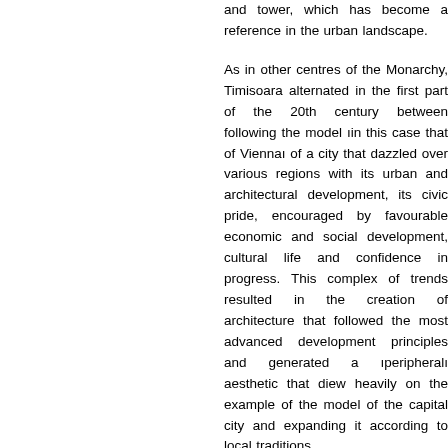and tower, which has become a reference in the urban landscape.
As in other centres of the Monarchy, Timisoara alternated in the first part of the 20th century between following the model ıin this case that of Viennaı of a city that dazzled over various regions with its urban and architectural development, its civic pride, encouraged by favourable economic and social development, cultural life and confidence in progress. This complex of trends resulted in the creation of architecture that followed the most advanced urban development principles and generated a ıperipheralı aesthetic that drew heavily on the example of the model of the capital city and expanding it according to local traditions.